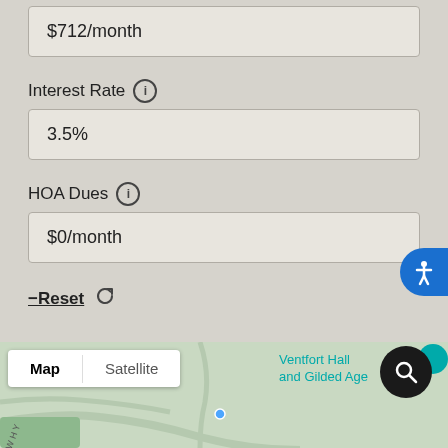$712/month
Interest Rate ⓘ
3.5%
HOA Dues ⓘ
$0/month
−Reset ↺
[Figure (screenshot): Google Maps view showing partial map with Map/Satellite toggle, Ventfort Hall and Gilded Age label, search button, and accessibility button]
Map
Satellite
Ventfort Hall and Gilded Age